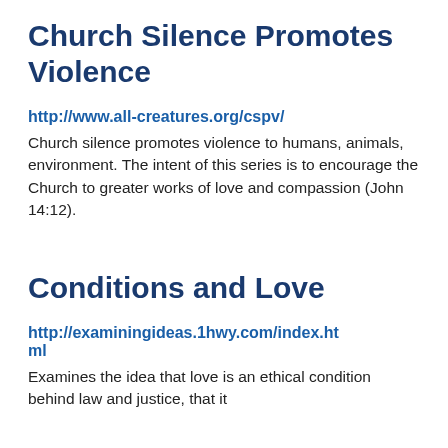Church Silence Promotes Violence
http://www.all-creatures.org/cspv/
Church silence promotes violence to humans, animals, environment. The intent of this series is to encourage the Church to greater works of love and compassion (John 14:12).
Conditions and Love
http://examiningideas.1hwy.com/index.html
Examines the idea that love is an ethical condition behind law and justice, that it could well solve conditions and that the...